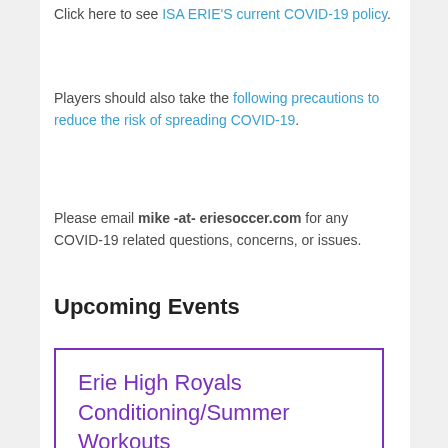Click here to see ISA ERIE'S current COVID-19 policy.
Players should also take the following precautions to reduce the risk of spreading COVID-19.
Please email mike -at- eriesoccer.com for any COVID-19 related questions, concerns, or issues.
Upcoming Events
Erie High Royals Conditioning/Summer Workouts